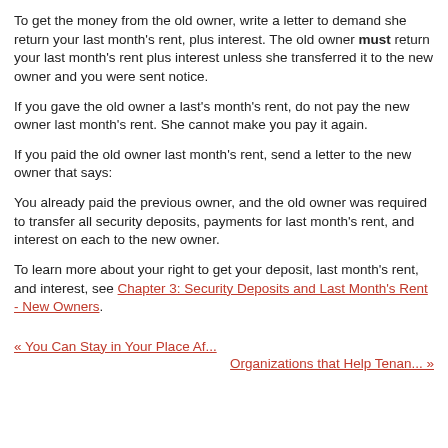To get the money from the old owner, write a letter to demand she return your last month's rent, plus interest. The old owner must return your last month's rent plus interest unless she transferred it to the new owner and you were sent notice.
If you gave the old owner a last's month's rent, do not pay the new owner last month's rent. She cannot make you pay it again.
If you paid the old owner last month's rent, send a letter to the new owner that says:
You already paid the previous owner, and the old owner was required to transfer all security deposits, payments for last month's rent, and interest on each to the new owner.
To learn more about your right to get your deposit, last month's rent, and interest, see Chapter 3: Security Deposits and Last Month's Rent - New Owners.
« You Can Stay in Your Place Af...
Organizations that Help Tenan... »